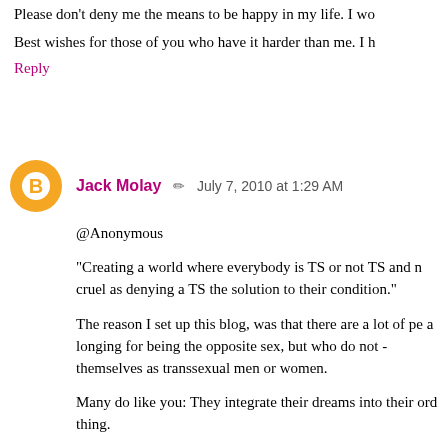Please don't deny me the means to be happy in my life. I wo
Best wishes for those of you who have it harder than me. I h
Reply
Jack Molay   July 7, 2010 at 1:29 AM
@Anonymous
"Creating a world where everybody is TS or not TS and m cruel as denying a TS the solution to their condition."
The reason I set up this blog, was that there are a lot of pe a longing for being the opposite sex, but who do not - themselves as transsexual men or women.
Many do like you: They integrate their dreams into their ord thing.
I used the autogynephilia theory as a starting point for this Blanchard & Co were the only ones willing to talk and think about.
Unfortunately, Blanchard & Co ended up labeling us all as